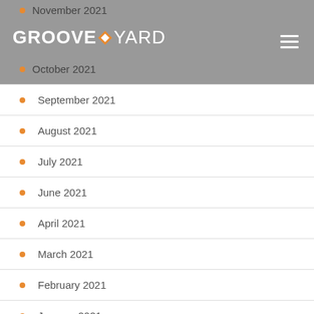GROOVEYARD
November 2021
October 2021
September 2021
August 2021
July 2021
June 2021
April 2021
March 2021
February 2021
January 2021